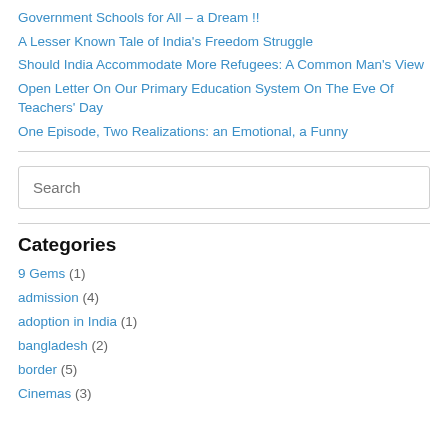Government Schools for All – a Dream !!
A Lesser Known Tale of India's Freedom Struggle
Should India Accommodate More Refugees: A Common Man's View
Open Letter On Our Primary Education System On The Eve Of Teachers' Day
One Episode, Two Realizations: an Emotional, a Funny
Categories
9 Gems (1)
admission (4)
adoption in India (1)
bangladesh (2)
border (5)
Cinemas (3)